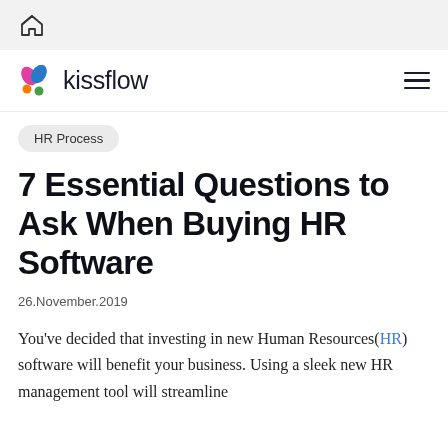🏠
[Figure (logo): Kissflow logo with colored dots and text 'kissflow']
HR Process
7 Essential Questions to Ask When Buying HR Software
26.November.2019
You've decided that investing in new Human Resources(HR) software will benefit your business. Using a sleek new HR management tool will streamline